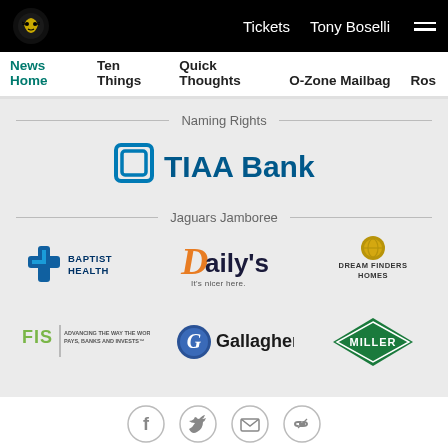Tickets   Tony Boselli   ☰
News Home   Ten Things   Quick Thoughts   O-Zone Mailbag   Ros
Naming Rights
[Figure (logo): TIAA Bank logo with square bracket icon in blue]
Jaguars Jamboree
[Figure (logo): Baptist Health logo]
[Figure (logo): Daily's - It's nicer here logo]
[Figure (logo): Dream Finders Homes logo]
[Figure (logo): FIS - Advancing the way the world pays, banks and invests logo]
[Figure (logo): Gallagher logo with G emblem]
[Figure (logo): Miller diamond logo green]
[Figure (other): Social sharing icons: Facebook, Twitter, Email, Link]